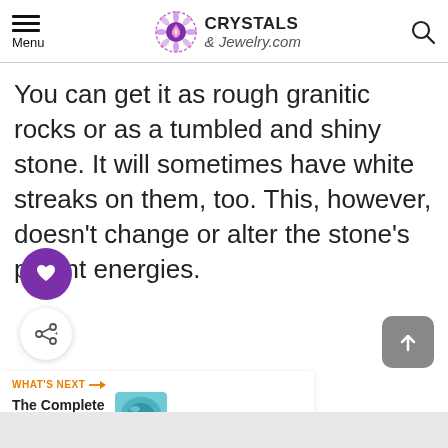Menu | Crystals & Jewelry.com
You can get it as rough granitic rocks or as a tumbled and shiny stone. It will sometimes have white streaks on them, too. This, however, doesn't change or alter the stone's potent energies.
[Figure (other): Purple heart (like/favorite) button circle icon]
[Figure (other): Share button circle icon (white background)]
[Figure (other): Scroll to top button (gray rounded square with up arrow)]
WHAT'S NEXT → The Complete Guide to...